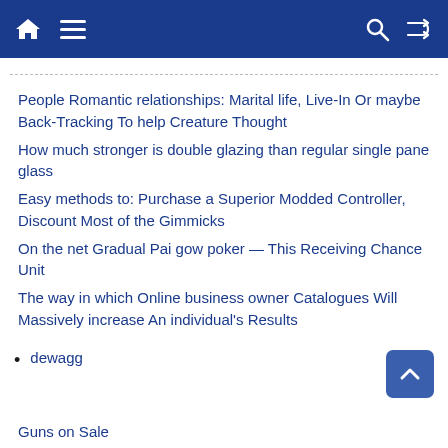Home | Menu | Search | Shuffle
People Romantic relationships: Marital life, Live-In Or maybe Back-Tracking To help Creature Thought
How much stronger is double glazing than regular single pane glass
Easy methods to: Purchase a Superior Modded Controller, Discount Most of the Gimmicks
On the net Gradual Pai gow poker — This Receiving Chance Unit
The way in which Online business owner Catalogues Will Massively increase An individual's Results
dewagg
Guns on Sale